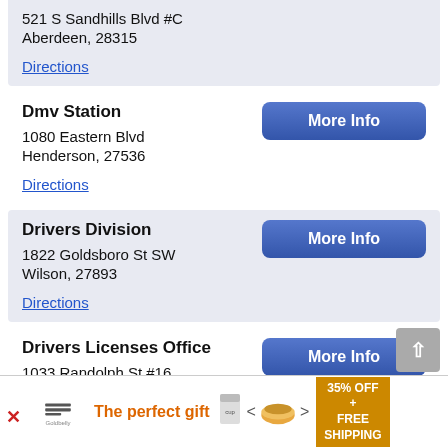521 S Sandhills Blvd #C
Aberdeen, 28315
Directions
Dmv Station
1080 Eastern Blvd
Henderson, 27536
Directions
Drivers Division
1822 Goldsboro St SW
Wilson, 27893
Directions
Drivers Licenses Office
1033 Randolph St #16
Thomasville, 27360
Directions
[Figure (infographic): Advertisement banner: Goldbelly 'The perfect gift' with food product images, navigation arrows, and '35% OFF + FREE SHIPPING' promo badge]